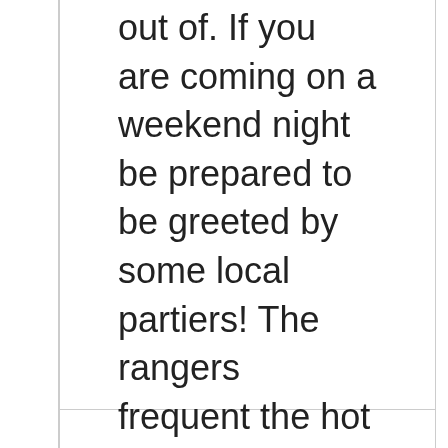out of. If you are coming on a weekend night be prepared to be greeted by some local partiers! The rangers frequent the hot springs to ensure nothing get's out of hand and that everyone is being safe. If you are bringing beverages, bring cans. Don't bring glass, glass is hard to clean and easy to step on.